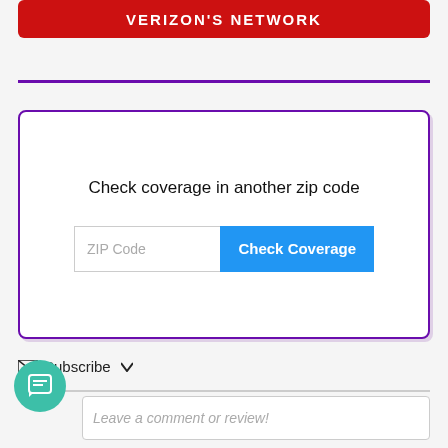VERIZON'S NETWORK
Check coverage in another zip code
ZIP Code
Check Coverage
Subscribe
Leave a comment or review!